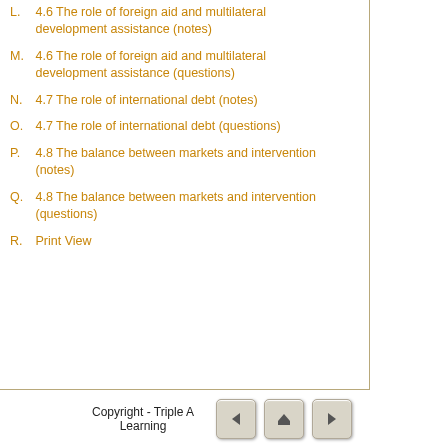L. 4.6 The role of foreign aid and multilateral development assistance (notes)
M. 4.6 The role of foreign aid and multilateral development assistance (questions)
N. 4.7 The role of international debt (notes)
O. 4.7 The role of international debt (questions)
P. 4.8 The balance between markets and intervention (notes)
Q. 4.8 The balance between markets and intervention (questions)
R. Print View
Copyright - Triple A Learning